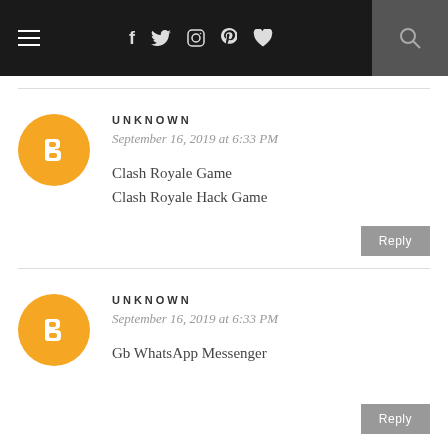Navigation bar with menu icon, social icons (f, twitter, instagram, pinterest, heart), and search icon
UNKNOWN
September 16, 2019 at 6:33 PM
Clash Royale Game
Clash Royale Hack Game
Reply
UNKNOWN
September 16, 2019 at 6:33 PM
Gb WhatsApp Messenger
Reply